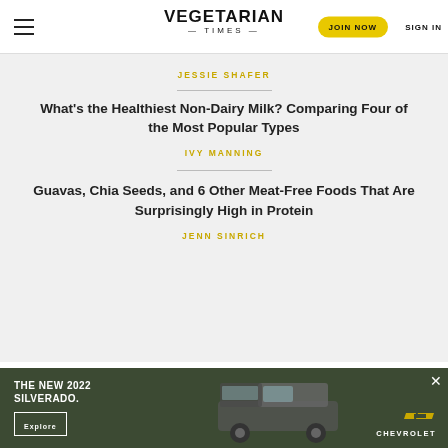VEGETARIAN TIMES | JOIN NOW | SIGN IN
JESSIE SHAFER
What's the Healthiest Non-Dairy Milk? Comparing Four of the Most Popular Types
IVY MANNING
Guavas, Chia Seeds, and 6 Other Meat-Free Foods That Are Surprisingly High in Protein
JENN SINRICH
TAGS
[Figure (photo): Advertisement banner for The New 2022 Chevrolet Silverado with truck image and Explore button on dark green background]